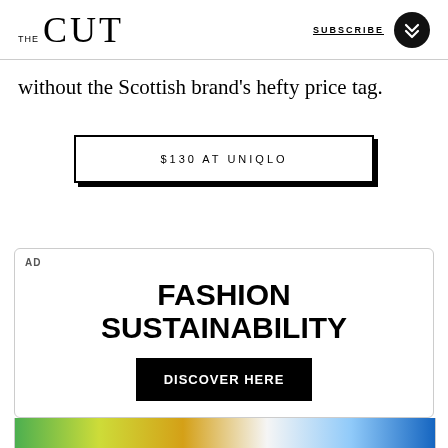THE CUT | SUBSCRIBE
without the Scottish brand's hefty price tag.
$130 AT UNIQLO
AD
FASHION SUSTAINABILITY
DISCOVER HERE
[Figure (photo): Colorful image strip at the bottom of the ad container]